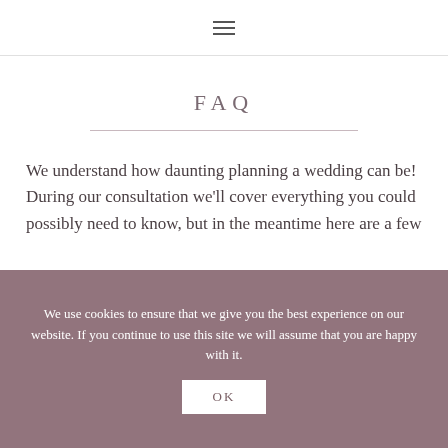☰
FAQ
We understand how daunting planning a wedding can be! During our consultation we'll cover everything you could possibly need to know, but in the meantime here are a few
We use cookies to ensure that we give you the best experience on our website. If you continue to use this site we will assume that you are happy with it. OK